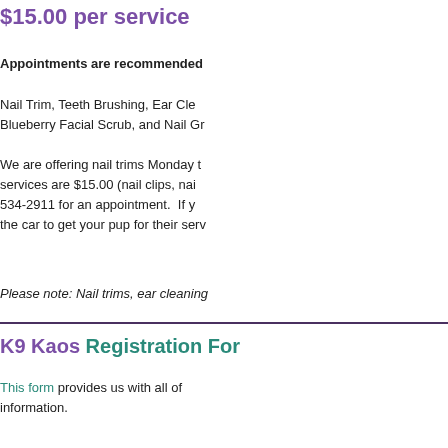$15.00 per service
Appointments are recommended
Nail Trim, Teeth Brushing, Ear Cleaning, Blueberry Facial Scrub, and Nail Grind
We are offering nail trims Monday through services are $15.00 (nail clips, nail grind) 534-2911 for an appointment. If you the car to get your pup for their service.
Please note: Nail trims, ear cleaning
K9 Kaos Registration Form
This form provides us with all of information.